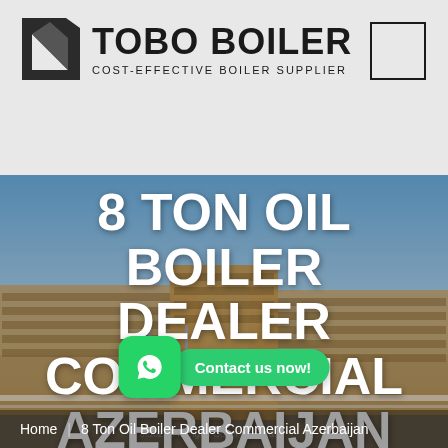[Figure (logo): TOBO BOILER logo with triangular icon and tagline COST-EFFECTIVE BOILER SUPPLIER]
8 TON OIL BOILER DEALER COMMERCIAL AZERBAIJAN
[Figure (photo): Industrial boiler manufacturing facility building exterior with blue sky background]
[Figure (other): WhatsApp contact button with green phone icon and Contact us now! pill button]
Home  |  8 Ton Oil Boiler Dealer Commercial Azerbaijan